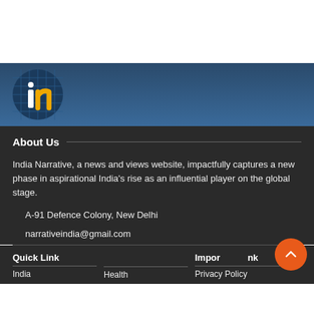[Figure (logo): India Narrative logo — circular badge with dark blue grid background, white letter 'i' and yellow letter 'n']
About Us
India Narrative, a news and views website, impactfully captures a new phase in aspirational India's rise as an influential player on the global stage.
A-91 Defence Colony, New Delhi
narrativeindia@gmail.com
Quick Link
Important Link
India
Health
Privacy Policy